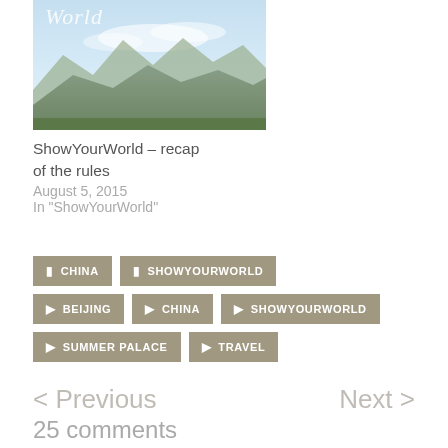[Figure (photo): Thumbnail image of a mountain landscape with sky, overlaid with cursive text 'World']
ShowYourWorld – recap of the rules
August 5, 2015
In "ShowYourWorld"
CHINA
SHOWYOURWORLD
BEIJING
CHINA
SHOWYOURWORLD
SUMMER PALACE
TRAVEL
< Previous
Next >
25 comments
Going back 25 years l…